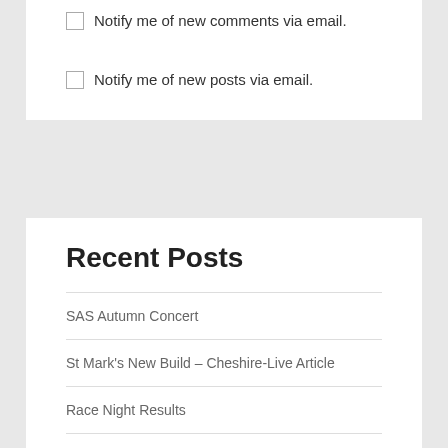Notify me of new comments via email.
Notify me of new posts via email.
Recent Posts
SAS Autumn Concert
St Mark's New Build – Cheshire-Live Article
Race Night Results
Celebrating a year of community, coffee and cake